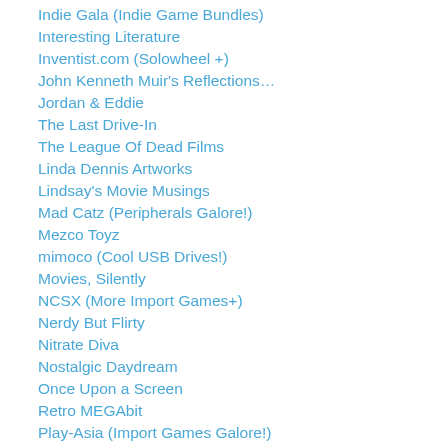Indie Gala (Indie Game Bundles)
Interesting Literature
Inventist.com (Solowheel +)
John Kenneth Muir's Reflections…
Jordan & Eddie
The Last Drive-In
The League Of Dead Films
Linda Dennis Artworks
Lindsay's Movie Musings
Mad Catz (Peripherals Galore!)
Mezco Toyz
mimoco (Cool USB Drives!)
Movies, Silently
NCSX (More Import Games+)
Nerdy But Flirty
Nitrate Diva
Nostalgic Daydream
Once Upon a Screen
Retro MEGAbit
Play-Asia (Import Games Galore!)